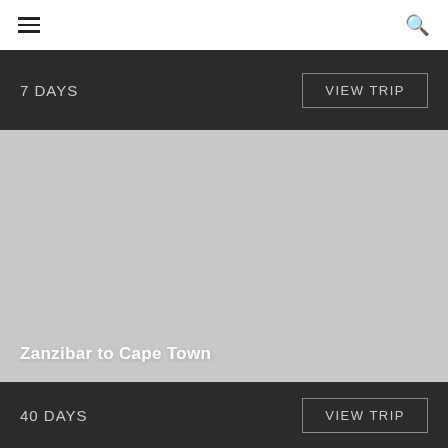Navigation bar with hamburger menu and search icon
7 DAYS
VIEW TRIP
[Figure (photo): Large travel destination image placeholder (light grey) for Zanzibar to Cape Town trip]
Zanzibar to Cape Town
40 DAYS
VIEW TRIP